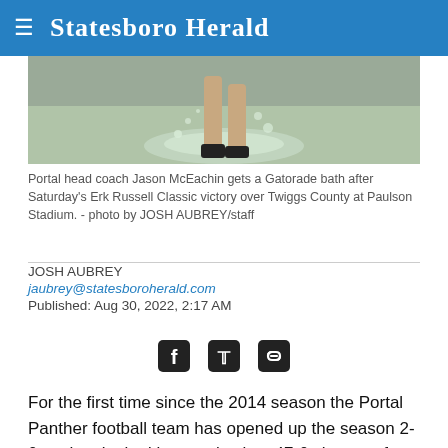Statesboro Herald
[Figure (photo): Action photo of Portal head coach Jason McEachin getting a Gatorade bath, showing legs and water splash]
Portal head coach Jason McEachin gets a Gatorade bath after Saturday's Erk Russell Classic victory over Twiggs County at Paulson Stadium. - photo by JOSH AUBREY/staff
JOSH AUBREY
jaubrey@statesboroherald.com
Published: Aug 30, 2022, 2:17 AM
For the first time since the 2014 season the Portal Panther football team has opened up the season 2-0 as they looked impressive in a 47-0 shutout of Twiggs County in the opening game of the annual